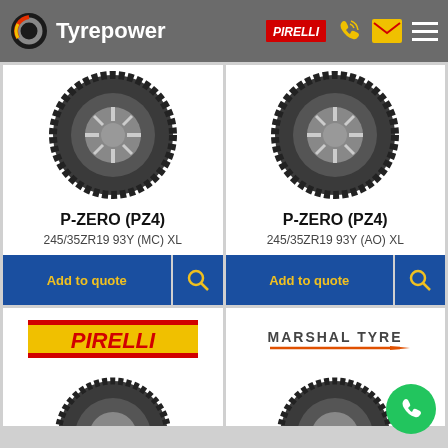Tyrepower
[Figure (photo): Pirelli P-Zero PZ4 tyre image, left product card]
P-ZERO (PZ4)
245/35ZR19 93Y (MC) XL
[Figure (photo): Pirelli P-Zero PZ4 tyre image, right product card]
P-ZERO (PZ4)
245/35ZR19 93Y (AO) XL
[Figure (logo): Pirelli brand logo (yellow background, red text)]
[Figure (logo): Marshal Tyre brand logo]
[Figure (photo): Pirelli tyre partial view, lower left card]
[Figure (photo): Marshal tyre partial view, lower right card]